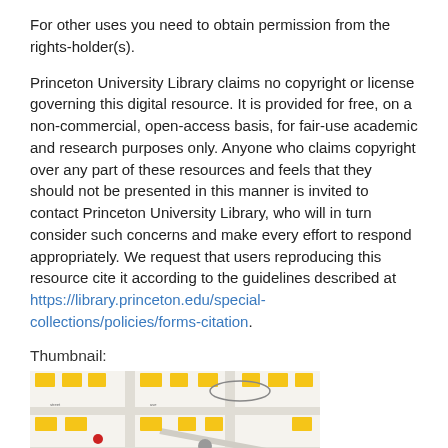For other uses you need to obtain permission from the rights-holder(s).
Princeton University Library claims no copyright or license governing this digital resource. It is provided for free, on a non-commercial, open-access basis, for fair-use academic and research purposes only. Anyone who claims copyright over any part of these resources and feels that they should not be presented in this manner is invited to contact Princeton University Library, who will in turn consider such concerns and make every effort to respond appropriately. We request that users reproducing this resource cite it according to the guidelines described at https://library.princeton.edu/special-collections/policies/forms-citation.
Thumbnail:
[Figure (map): A thumbnail map image showing a street/neighborhood map with yellow parcels or lots marked, roads, and some blue and gray elements at the bottom.]